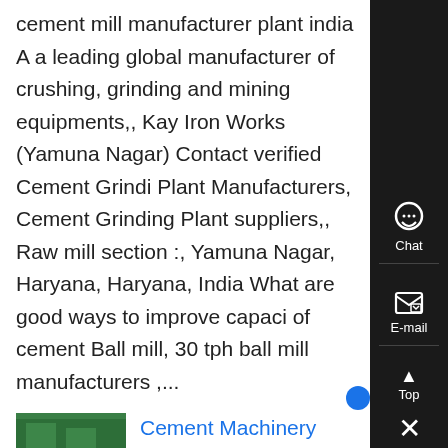cement mill manufacturer plant india A a leading global manufacturer of crushing, grinding and mining equipments,, Kay Iron Works (Yamuna Nagar) Contact verified Cement Grinding Plant Manufacturers, Cement Grinding Plant suppliers,, Raw mill section :, Yamuna Nagar, Haryana, Haryana, India What are good ways to improve capacity of cement Ball mill, 30 tph ball mill manufacturers ,...
[Figure (photo): Thumbnail image showing interior of a cement manufacturing facility with green-painted floors and machinery]
Cement Machinery Manufacturers in Yamuna Nagar - Grotal - Know More
Heading: Cement Machinery Manufacturers, City: Yamuna Nagar